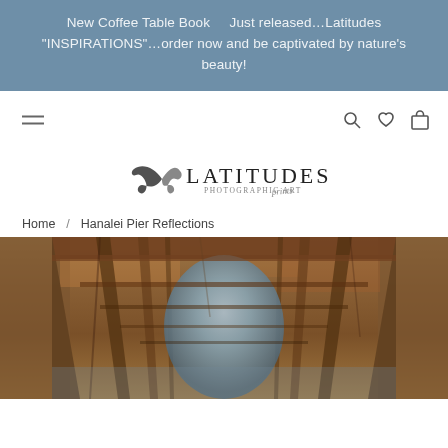New Coffee Table Book    Just released…Latitudes "INSPIRATIONS"…order now and be captivated by nature's beauty!
Home / Hanalei Pier Reflections
[Figure (photo): Underneath Hanalei Pier looking down the pier supports with warm rust and brown tones reflected in still water, creating a symmetrical tunnel perspective]
Hanalei Pier Reflections